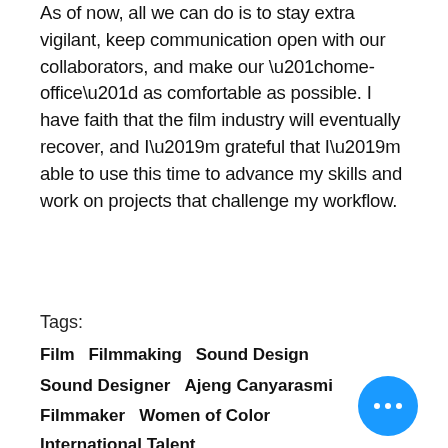As of now, all we can do is to stay extra vigilant, keep communication open with our collaborators, and make our “home-office” as comfortable as possible. I have faith that the film industry will eventually recover, and I’m grateful that I’m able to use this time to advance my skills and work on projects that challenge my workflow.
Tags:
Film   Filmmaking   Sound Design
Sound Designer   Ajeng Canyarasmi
Filmmaker   Women of Color
International Talent
Film